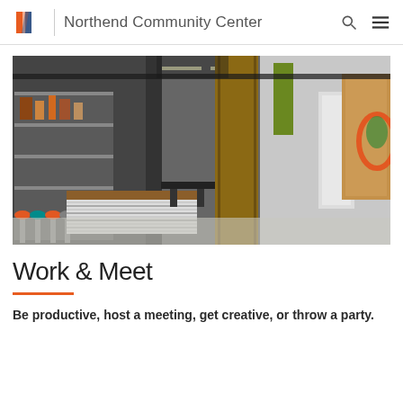Northend Community Center
[Figure (photo): Interior photo of Northworks space at Northend Community Center showing open workspace with shelving, stools, a counter with striped corrugated front, a large vertical wooden sign reading 'NORTHWORKS', green accent panels, exposed black ceiling with industrial lighting, and cork bulletin board on the right wall.]
Work & Meet
Be productive, host a meeting, get creative, or throw a party.